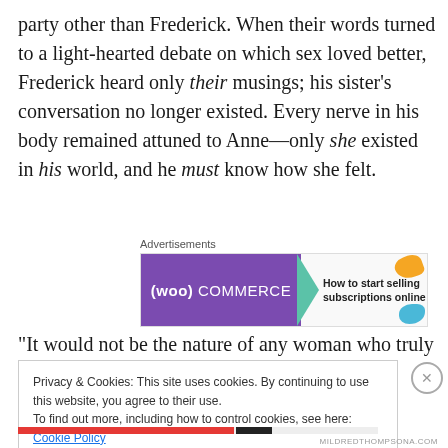party other than Frederick. When their words turned to a light-hearted debate on which sex loved better, Frederick heard only their musings; his sister's conversation no longer existed. Every nerve in his body remained attuned to Anne—only she existed in his world, and he must know how she felt.
[Figure (other): WooCommerce advertisement banner: 'How to start selling subscriptions online']
“It would not be the nature of any woman who truly loved,”
Privacy & Cookies: This site uses cookies. By continuing to use this website, you agree to their use.
To find out more, including how to control cookies, see here: Cookie Policy
Close and accept